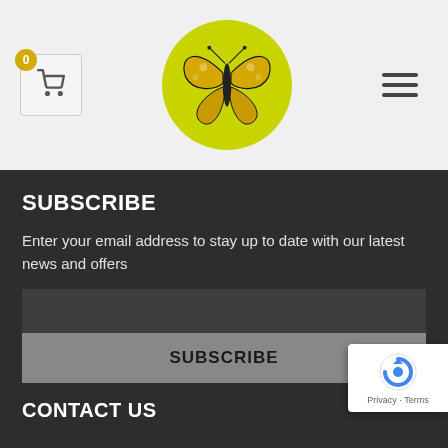[Figure (logo): Butterfly logo in a yellow-green circle, used as website header logo]
SUBSCRIBE
Enter your email address to stay up to date with our latest news and offers
[Figure (screenshot): Email input field (dark background) followed by a grey SUBSCRIBE button]
[Figure (logo): reCAPTCHA badge widget showing Privacy and Terms links]
CONTACT US